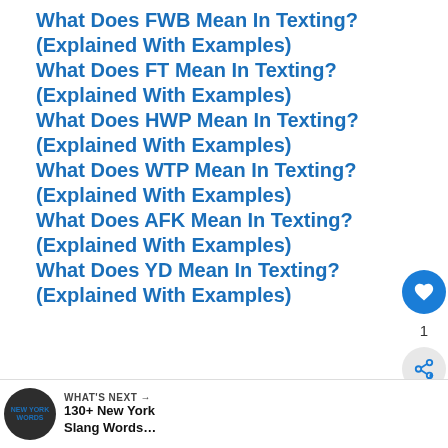What Does FWB Mean In Texting? (Explained With Examples)
What Does FT Mean In Texting? (Explained With Examples)
What Does HWP Mean In Texting? (Explained With Examples)
What Does WTP Mean In Texting? (Explained With Examples)
What Does AFK Mean In Texting? (Explained With Examples)
What Does YD Mean In Texting? (Explained With Examples)
[Figure (infographic): Floating sidebar with heart icon button, share count of 1, and share button]
[Figure (infographic): What's Next bar with dark circular icon showing 'New York Words' text, label 'WHAT'S NEXT →' and title '130+ New York Slang Words...']